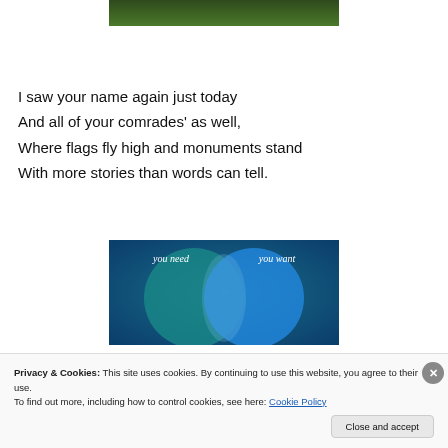[Figure (photo): Partial top image showing green grass or foliage, cropped at the top of the page]
I saw your name again just today
And all of your comrades' as well,
Where flags fly high and monuments stand
With more stories than words can tell.
[Figure (infographic): Venn diagram with two overlapping circles on a teal-to-blue gradient background. Left circle labeled 'you need', right circle labeled 'you want'.]
Privacy & Cookies: This site uses cookies. By continuing to use this website, you agree to their use.
To find out more, including how to control cookies, see here: Cookie Policy
Close and accept